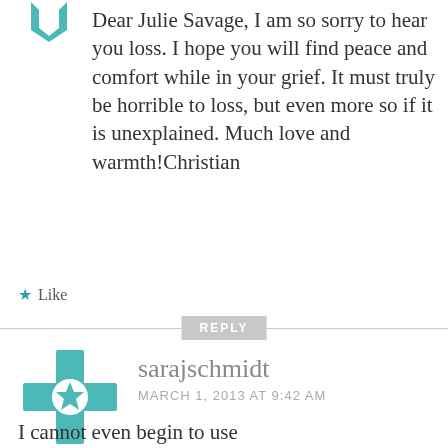[Figure (logo): Teal geometric/floral avatar icon, partially visible at top]
Dear Julie Savage, I am so sorry to hear you loss. I hope you will find peace and comfort while in your grief. It must truly be horrible to loss, but even more so if it is unexplained. Much love and warmth!Christian
★ Like
REPLY
[Figure (logo): Teal geometric cross/star pattern avatar for sarajschmidt]
sarajschmidt
MARCH 1, 2013 AT 9:42 AM
I cannot even begin to use